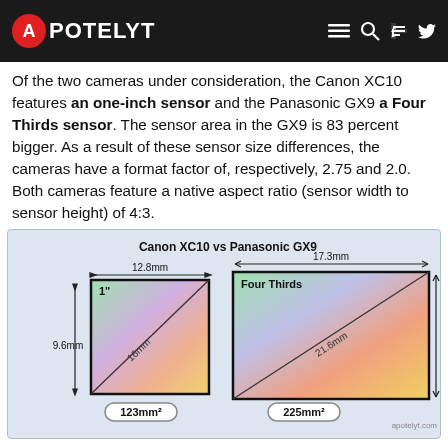APOTELYT
Of the two cameras under consideration, the Canon XC10 features an one-inch sensor and the Panasonic GX9 a Four Thirds sensor. The sensor area in the GX9 is 83 percent bigger. As a result of these sensor size differences, the cameras have a format factor of, respectively, 2.75 and 2.0. Both cameras feature a native aspect ratio (sensor width to sensor height) of 4:3.
[Figure (illustration): Sensor size comparison diagram showing Canon XC10 (1-inch sensor, 12.8mm wide, 9.6mm tall, 16mm diagonal, 123mm²) vs Panasonic GX9 (Four Thirds sensor, 17.3mm wide, 13.0mm tall, 21.6mm diagonal, 225mm²). Both sensors shown with colorful gradient fills and measurement arrows. Title: Canon XC10 vs Panasonic GX9. Watermark: apotelyt.com]